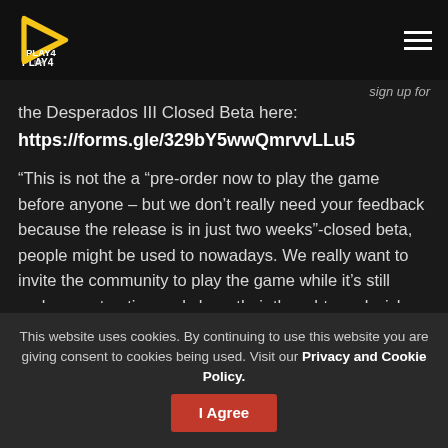PLAY4 UK
sign up for the Desperados III Closed Beta here:
https://forms.gle/329bY5wwQmrvvLLu5
“This is not the a “pre-order now to play the game before anyone – but we don’t really need your feedback because the release is in just two weeks”-closed beta, people might be used to nowadays. We really want to invite the community to play the game while it’s still under construction and share their thoughts and wishes with us. And we want to have the time to react to the players’ input and to optimize the game together.” says Dennis Huszak,
This website uses cookies. By continuing to use this website you are giving consent to cookies being used. Visit our Privacy and Cookie Policy.